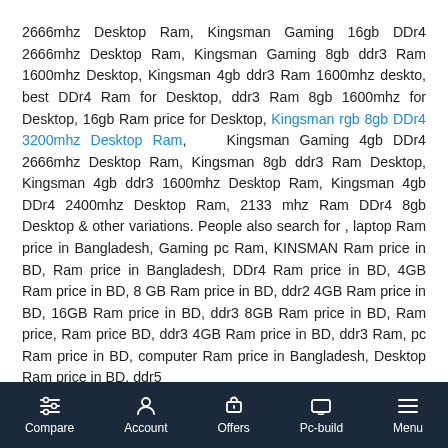2666mhz Desktop Ram, Kingsman Gaming 16gb DDr4 2666mhz Desktop Ram, Kingsman Gaming 8gb ddr3 Ram 1600mhz Desktop, Kingsman 4gb ddr3 Ram 1600mhz deskto, best DDr4 Ram for Desktop, ddr3 Ram 8gb 1600mhz for Desktop, 16gb Ram price for Desktop, Kingsman rgb 8gb DDr4 3200mhz Desktop Ram, Kingsman Gaming 4gb DDr4 2666mhz Desktop Ram, Kingsman 8gb ddr3 Ram Desktop, Kingsman 4gb ddr3 1600mhz Desktop Ram, Kingsman 4gb DDr4 2400mhz Desktop Ram, 2133 mhz Ram DDr4 8gb Desktop & other variations. People also search for , laptop Ram price in Bangladesh, Gaming pc Ram, KINSMAN Ram price in BD, Ram price in Bangladesh, DDr4 Ram price in BD, 4GB Ram price in BD, 8 GB Ram price in BD, ddr2 4GB Ram price in BD, 16GB Ram price in BD, ddr3 8GB Ram price in BD, Ram price, Ram price BD, ddr3 4GB Ram price in BD, ddr3 Ram, pc Ram price in BD, computer Ram price in Bangladesh, Desktop Ram price in BD, ddr5
Compare | Account | Offers | Pc-build | Menu